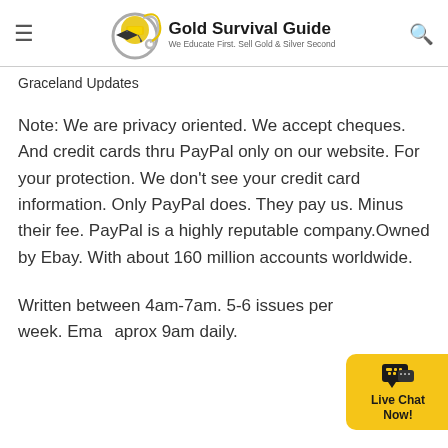Gold Survival Guide — We Educate First. Sell Gold & Silver Second
Graceland Updates
Note: We are privacy oriented. We accept cheques. And credit cards thru PayPal only on our website. For your protection. We don't see your credit card information. Only PayPal does. They pay us. Minus their fee. PayPal is a highly reputable company.Owned by Ebay. With about 160 million accounts worldwide.
Written between 4am-7am. 5-6 issues per week. Ema... aprox 9am daily.